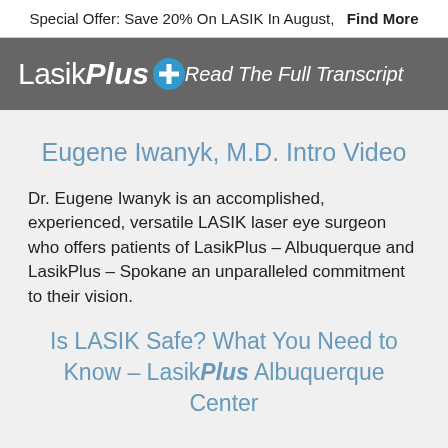Special Offer: Save 20% On LASIK In August,   Find More
[Figure (logo): LasikPlus logo with circular plus icon on grey background, overlaid with italic text 'Read The Full Transcript']
Eugene Iwanyk, M.D. Intro Video
Dr. Eugene Iwanyk is an accomplished, experienced, versatile LASIK laser eye surgeon who offers patients of LasikPlus – Albuquerque and LasikPlus – Spokane an unparalleled commitment to their vision.
Is LASIK Safe? What You Need to Know – LasikPlus Albuquerque Center